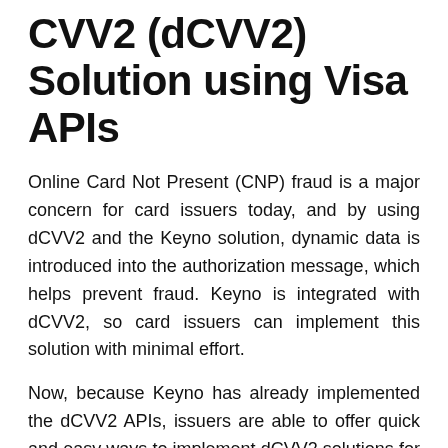CVV2 (dCVV2) Solution using Visa APIs
Online Card Not Present (CNP) fraud is a major concern for card issuers today, and by using dCVV2 and the Keyno solution, dynamic data is introduced into the authorization message, which helps prevent fraud. Keyno is integrated with dCVV2, so card issuers can implement this solution with minimal effort.
Now, because Keyno has already implemented the dCVV2 APIs, issuers are able to offer quick and easy ways to implement dCVV2 solutions for both new and existing Visa cards is validated on VisaNet, worldwide.
What is CVVkey?